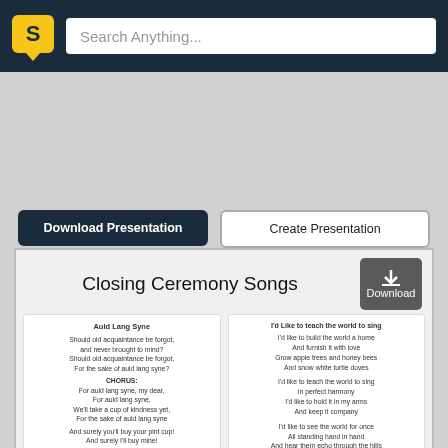[Figure (screenshot): Scribd website header with logo and search bar]
Search Anything...
Download Presentation
Create Presentation
Closing Ceremony Songs
Auld Lang Syne

Should old acquaintance be forgot,
and never brought to mind?
Should old acquaintance be forgot,
For the sake of auld lang syne?

CHORUS:
For auld lang syne, my dear,
For auld lang syne,
We'll take a cup of kindness yet,
For the sake of auld lang syne

And surely you'll buy your pint cup!
And surely I'll buy mine!
We'll take a cup of kindness yet,
For the sake of auld lang syne

CHORUS

And there's a hand my trusty friend!
And give me one of thine!
We'll take a right good-will drink
I'd Like to teach the world to sing

I'd like to build the world a home
And furnish it with love
Grow apple trees and honey bees
And snow white turtle doves

I'd like to teach the world to sing
in perfect harmony
I'd like to hold it in my arms
And keep it company

I'd like to see the world for once
All standing hand in hand
And hear them echo through the hills
Of peace throughout the land